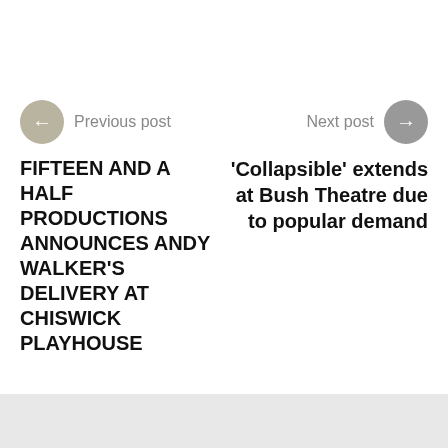Previous post
FIFTEEN AND A HALF PRODUCTIONS ANNOUNCES ANDY WALKER'S DELIVERY AT CHISWICK PLAYHOUSE
Next post
‘Collapsible’ extends at Bush Theatre due to popular demand